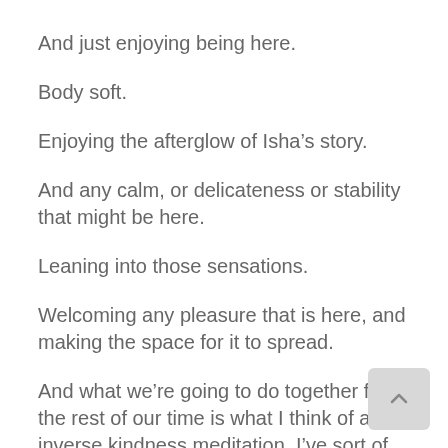And just enjoying being here.
Body soft.
Enjoying the afterglow of Isha’s story.
And any calm, or delicateness or stability that might be here.
Leaning into those sensations.
Welcoming any pleasure that is here, and making the space for it to spread.
And what we’re going to do together for the rest of our time is what I think of as an inverse kindness meditation. I’ve sort of just made it so let’s see how we get on.